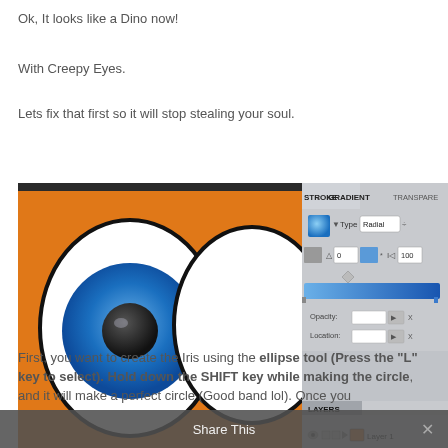Ok, It looks like a Dino now!
With Creepy Eyes.
Lets fix that first so it will stop stealing your soul.
[Figure (screenshot): Screenshot of a graphic design application showing a cartoon dinosaur's eyes on an orange background. The left eye has a blue iris with a dark pupil rendered with a radial gradient. The right eye is white/empty. A panel on the right shows the Gradient panel (STROKE, GRADIENT, TRANSPARENCY tabs) with Type: Radial selected and a blue gradient bar, plus Opacity and Location fields. At the bottom is a LAYERS panel showing Layer 1.]
First, you want to create the Iris using the ellipse tool (Press the "L" key to select). Hold down the SHIFT key while making the circle, and it will make a perfect circle (Good band lol). Once you have the circle, change over to the Gradient tool (W...